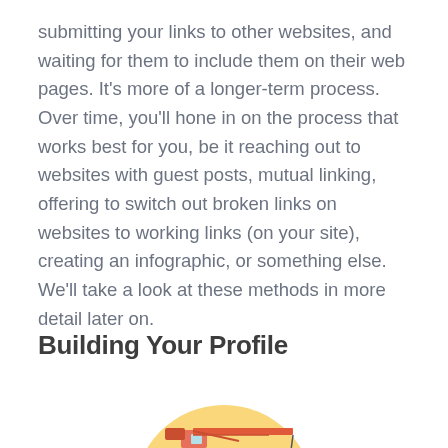submitting your links to other websites, and waiting for them to include them on their web pages. It's more of a longer-term process. Over time, you'll hone in on the process that works best for you, be it reaching out to websites with guest posts, mutual linking, offering to switch out broken links on websites to working links (on your site), creating an infographic, or something else. We'll take a look at these methods in more detail later on.
Building Your Profile
[Figure (illustration): Illustration of a construction crane lifting something, set against a yellow circular background. The crane is red/orange colored with a dark load hanging from the crane arm.]